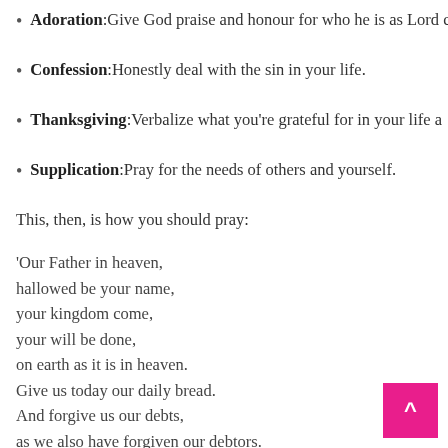Adoration: Give God praise and honour for who he is as Lord c…
Confession: Honestly deal with the sin in your life.
Thanksgiving: Verbalize what you're grateful for in your life a…
Supplication: Pray for the needs of others and yourself.
This, then, is how you should pray:
'Our Father in heaven,
hallowed be your name,
your kingdom come,
your will be done,
on earth as it is in heaven.
Give us today our daily bread.
And forgive us our debts,
as we also have forgiven our debtors.
And lead us not into temptation.